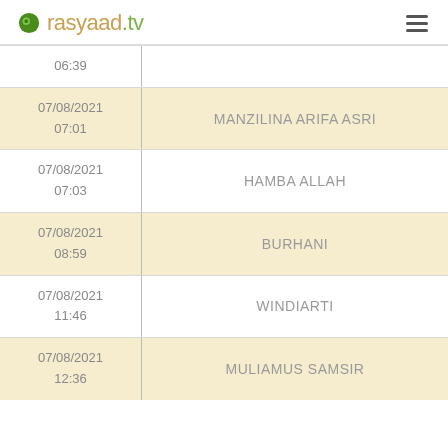rasyaad.tv
| Date/Time | Name |
| --- | --- |
| 06:39 |  |
| 07/08/2021 07:01 | MANZILINA ARIFA ASRI |
| 07/08/2021 07:03 | HAMBA ALLAH |
| 07/08/2021 08:59 | BURHANI |
| 07/08/2021 11:46 | WINDIARTI |
| 07/08/2021 12:36 | MULIAMUS SAMSIR |